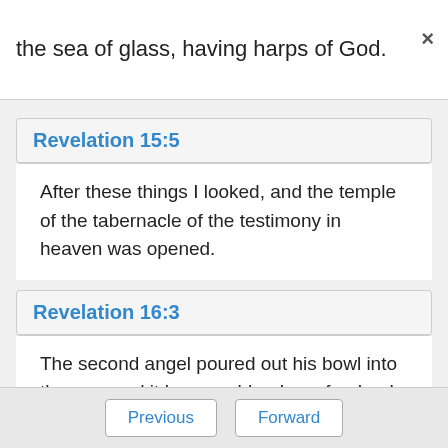the sea of glass, having harps of God.
Revelation 15:5
After these things I looked, and the temple of the tabernacle of the testimony in heaven was opened.
Revelation 16:3
The second angel poured out his bowl into the sea, and it became blood as of a dead man.
Previous  Forward